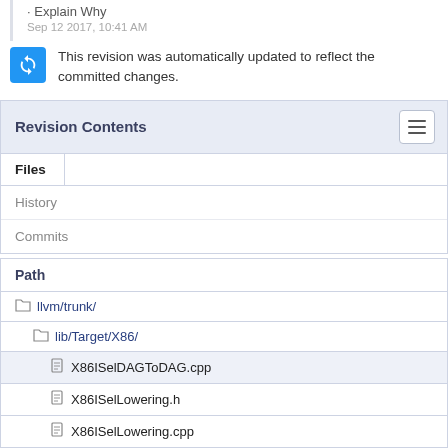· Explain Why
Sep 12 2017, 10:41 AM
This revision was automatically updated to reflect the committed changes.
Revision Contents
Files
History
Commits
Path
llvm/trunk/
lib/Target/X86/
X86ISelDAGToDAG.cpp
X86ISelLowering.h
X86ISelLowering.cpp
X86InstrInfo.td
test/CodeGen/X86/